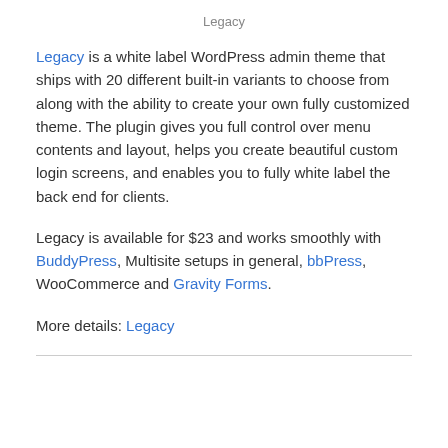Legacy
Legacy is a white label WordPress admin theme that ships with 20 different built-in variants to choose from along with the ability to create your own fully customized theme. The plugin gives you full control over menu contents and layout, helps you create beautiful custom login screens, and enables you to fully white label the back end for clients.
Legacy is available for $23 and works smoothly with BuddyPress, Multisite setups in general, bbPress, WooCommerce and Gravity Forms.
More details: Legacy